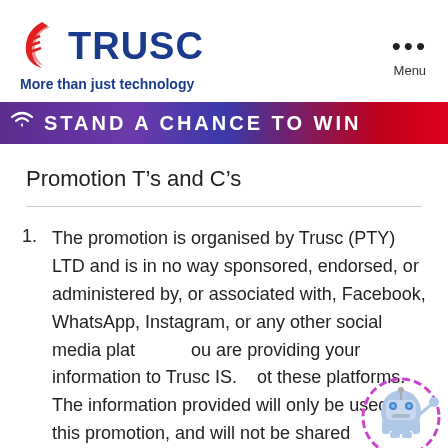[Figure (logo): TRUSC company logo with swoosh icon and tagline 'More than just technology' in blue]
[Figure (infographic): Promotional banner with purple-to-red gradient background showing 'STAND A CHANCE TO WIN' text with WiFi and signal icons]
Promotion T’s and C’s
The promotion is organised by Trusc (PTY) LTD and is in no way sponsored, endorsed, or administered by, or associated with, Facebook, WhatsApp, Instagram, or any other social media platform. You are providing your information to Trusc IS. Not these platforms. The information provided will only be used for this promotion, and will not be shared